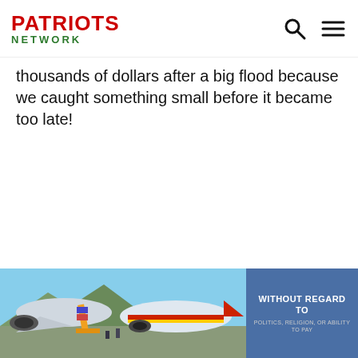PATRIOTS NETWORK
thousands of dollars after a big flood because we caught something small before it became too late!
[Figure (photo): Advertisement banner showing cargo being loaded onto airplanes at an airport, with a blue overlay on the right side reading WITHOUT REGARD TO and smaller text below it.]